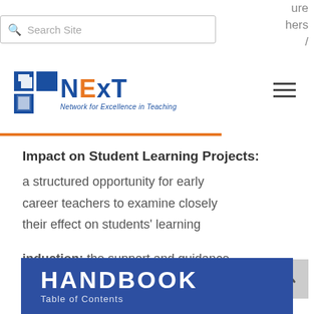Search Site | ure | chers |
[Figure (logo): NExT Network for Excellence in Teaching logo with Minnesota state shape icon in blue]
Impact on Student Learning Projects: a structured opportunity for early career teachers to examine closely their effect on students' learning
induction: the support and guidance provided to beginning teachers and in the early stages of their careers
HANDBOOK
Table of Contents